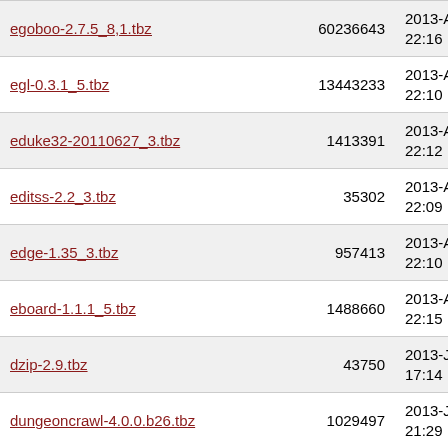| Filename | Size | Date |
| --- | --- | --- |
| egoboo-2.7.5_8,1.tbz | 60236643 | 2013-Aug-12 22:16 |
| egl-0.3.1_5.tbz | 13443233 | 2013-Aug-12 22:10 |
| eduke32-20110627_3.tbz | 1413391 | 2013-Aug-12 22:12 |
| editss-2.2_3.tbz | 35302 | 2013-Aug-12 22:09 |
| edge-1.35_3.tbz | 957413 | 2013-Aug-12 22:10 |
| eboard-1.1.1_5.tbz | 1488660 | 2013-Aug-12 22:15 |
| dzip-2.9.tbz | 43750 | 2013-Jul-09 17:14 |
| dungeoncrawl-4.0.0.b26.tbz | 1029497 | 2013-Jul-09 21:29 |
| dungeon-3.2.tbz | 666042 | 2013-Jul-09 21:29 |
| duke3d-data-1.0.tbz | 2311 | 2013-Jul-09 13:30 |
| duel-0.98_6.tbz | 2029240 | 2013-Aug-12 22:10 |